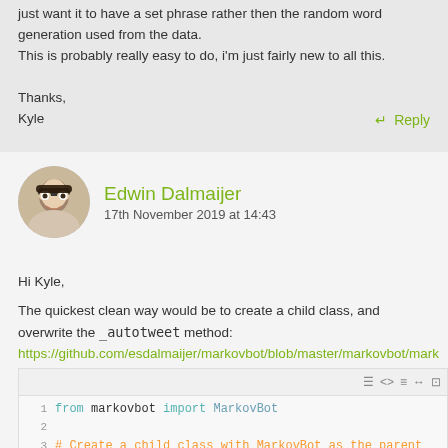just want it to have a set phrase rather then the random word generation used from the data.
This is probably really easy to do, i'm just fairly new to all this.
Thanks,
Kyle
↵ Reply
Edwin Dalmaijer
17th November 2019 at 14:43
Hi Kyle,
The quickest clean way would be to create a child class, and overwrite the _autotweet method:
https://github.com/esdalmaijer/markovbot/blob/master/markovbot/mark
This is how that code would look:
from markovbot import MarkovBot

# Create a child class with MarkovBot as the parent